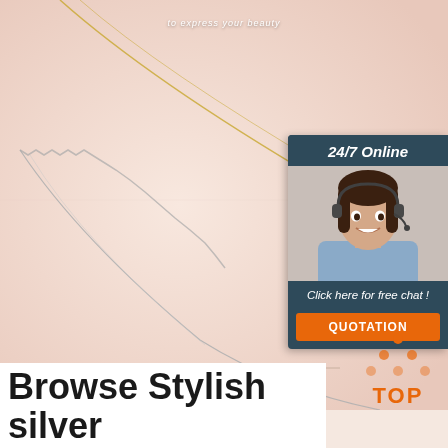to express your beauty
[Figure (photo): S925 silver drop pendant necklace product photo showing a teardrop silver pendant on a chain and a gold pendant on a chain, on a pinkish background]
S925 silver drop pendant necklace
[Figure (infographic): 24/7 Online chat widget with customer service representative photo, text 'Click here for free chat!' and orange QUOTATION button]
[Figure (logo): TOP button logo with orange dot pattern forming a triangle above the word TOP in orange]
Browse Stylish silver